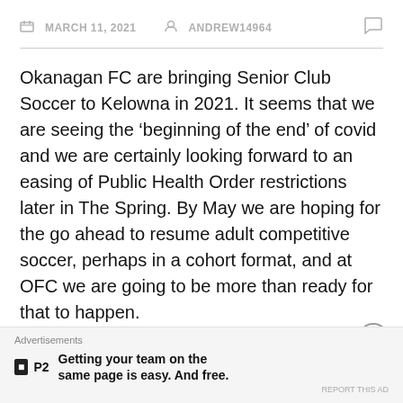MARCH 11, 2021  ANDREW14964
Okanagan FC are bringing Senior Club Soccer to Kelowna in 2021. It seems that we are seeing the ‘beginning of the end’ of covid and we are certainly looking forward to an easing of Public Health Order restrictions later in The Spring. By May we are hoping for the go ahead to resume adult competitive soccer, perhaps in a cohort format, and at OFC we are going to be more than ready for that to happen.
In 2019 we returned Senior Men’s Soccer to Kelowna after a seven year absence, since the old Okanagan Challenge folded in 2012. Our Senior Men’s team competed in The
Advertisements
Getting your team on the same page is easy. And free.